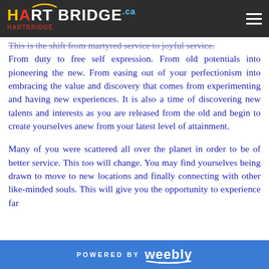HARTBRIDGE.ca
This is the shift from martyred service to joyful service. From duty to free self expression. From old potentials into pioneering the new. From easing out of your perfectionism into embracing the value and discovery that comes from experimenting and having new experiences. It is also a time of discovering new talents and interests as you are released from the old and begin to create yourselves anew from your latest level of attainment.
Many of you were scattered all over the planet in order to be of better service. This too will change. You may find yourselves being drawn to move to new locations and finally connecting with other like-minded souls. This will give you the opportunity to experience far
POWERED BY weebly